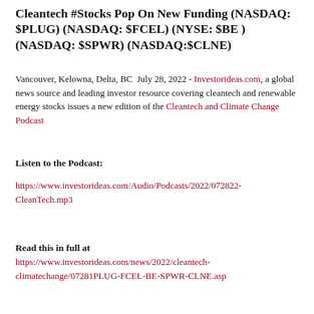Cleantech #Stocks Pop On New Funding (NASDAQ: $PLUG) (NASDAQ: $FCEL) (NYSE: $BE )  (NASDAQ: $SPWR) (NASDAQ:$CLNE)
Vancouver, Kelowna, Delta, BC  July 28, 2022 - Investorideas.com, a global news source and leading investor resource covering cleantech and renewable energy stocks issues a new edition of the Cleantech and Climate Change Podcast
Listen to the Podcast:
https://www.investorideas.com/Audio/Podcasts/2022/072822-CleanTech.mp3
Read this in full at
https://www.investorideas.com/news/2022/cleantech-climatechange/07281PLUG-FCEL-BE-SPWR-CLNE.asp